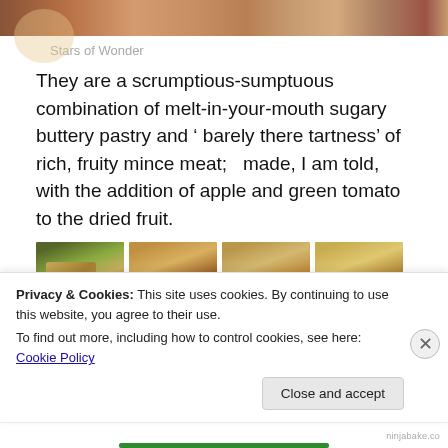[Figure (photo): Top cropped food photo showing pastries/mince pies with red and brown colors]
Stars of Wonder
They are a scrumptious-sumptuous combination of melt-in-your-mouth sugary buttery pastry and ‘ barely there tartness’ of rich, fruity mince meat;   made, I am told, with the addition of apple and green tomato to the dried fruit.
[Figure (photo): Thumbnail: mince pie with star pastry top on plate with gooseberries]
Star of
[Figure (photo): Thumbnail: apple and gooseberries]
Gooseberrie
[Figure (photo): Thumbnail: mince pie with star top dusted with icing sugar]
Sweet
[Figure (photo): Thumbnail: mince pie with star pastry top close up]
Merry
Privacy & Cookies: This site uses cookies. By continuing to use this website, you agree to their use.
To find out more, including how to control cookies, see here: Cookie Policy